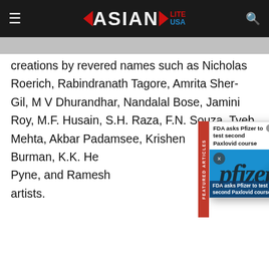Asian Lite USA
creations by revered names such as Nicholas Roerich, Rabindranath Tagore, Amrita Sher-Gil, M V Dhurandhar, Nandalal Bose, Jamini Roy, M.F. Husain, S.H. Raza, F.N. Souza, Tyeb Mehta, Akbar Padamsee, Krishen Khanna, Sakti Burman, K.K. Hebbar, Bikash Bhattacharjee, Ganesh Pyne, and Ramesh Shinde among other artists.
[Figure (photo): Featured articles popup showing Pfizer pill packaging with blue background and text 'FDA asks Pfizer to test second Paxlovid course']
Lot 41, a work by [artist name] lineup. The work was completed around 1962, during a period when he was inspired by the works of [partial text]